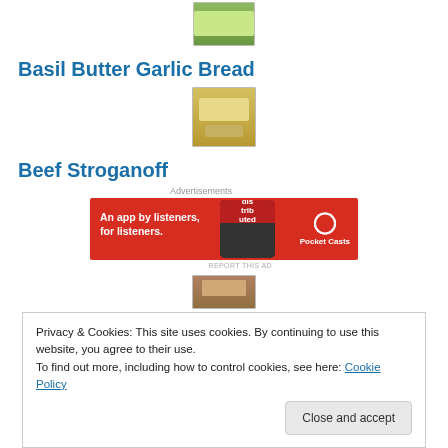[Figure (photo): Small thumbnail of garlic bread or food item, partially visible at top]
Basil Butter Garlic Bread
[Figure (photo): Small thumbnail of beef stroganoff pasta dish]
Beef Stroganoff
Advertisements
[Figure (photo): Pocket Casts advertisement banner - An app by listeners, for listeners.]
REPORT THIS AD
[Figure (photo): Small food thumbnail partially visible]
Privacy & Cookies: This site uses cookies. By continuing to use this website, you agree to their use.
To find out more, including how to control cookies, see here: Cookie Policy
Close and accept